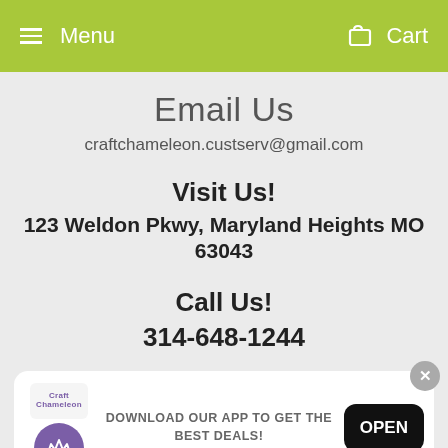Menu   Cart
Email Us
craftchameleon.custserv@gmail.com
Visit Us!
123 Weldon Pkwy, Maryland Heights MO 63043
Call Us!
314-648-1244
[Figure (screenshot): App download banner with Craft Chameleon logo, crown icon, text 'DOWNLOAD OUR APP TO GET THE BEST DEALS!', and OPEN button]
Wednesday - 10:00am - 3:00pm
Thursday - 10:00am - 3:00pm